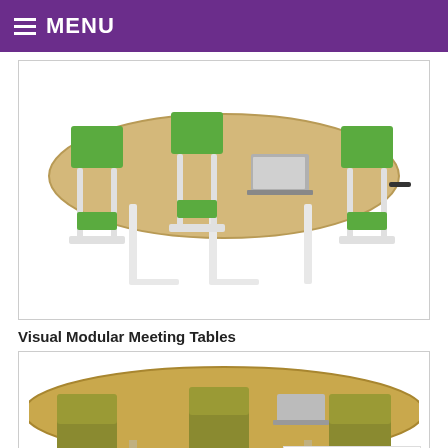MENU
[Figure (photo): Oval meeting table with light wood top and white legs, surrounded by green upholstered cantilever chairs, with a laptop on the table]
Visual Modular Meeting Tables
[Figure (photo): Partial view of a meeting table with olive/yellow upholstered chairs, with a Privacy & Cookies Policy notice overlay]
Privacy & Cookies Policy